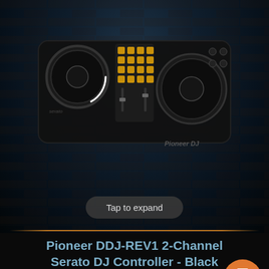[Figure (photo): Pioneer DDJ-REV1 2-Channel Serato DJ Controller in black with gold accents, photographed from above at an angle against a dark brick wall background. The controller has two jog wheels, mixer section in the middle, and performance pads.]
Tap to expand
Pioneer DDJ-REV1 2-Channel Serato DJ Controller - Black
[Figure (logo): N Stuff Price logo - italic N in blue/silver with 'Stuff Price' text in gold italic]
$279.00